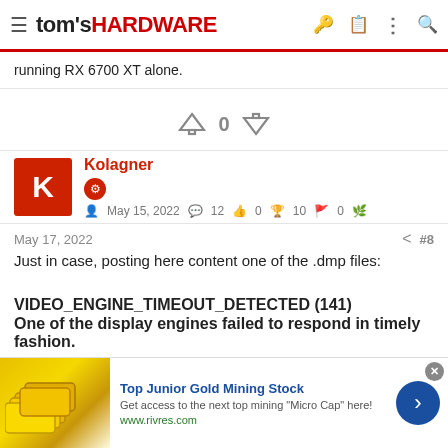tom's HARDWARE
running RX 6700 XT alone.
[Figure (infographic): Vote up/down arrows with score 0 in between]
Kolagner
May 15, 2022   12   0   10   0
May 17, 2022   #8
Just in case, posting here content one of the .dmp files:
VIDEO_ENGINE_TIMEOUT_DETECTED (141)
One of the display engines failed to respond in timely fashion.
[Figure (infographic): Advertisement banner: Top Junior Gold Mining Stock. Get access to the next top mining "Micro Cap" here! www.rivres.com]